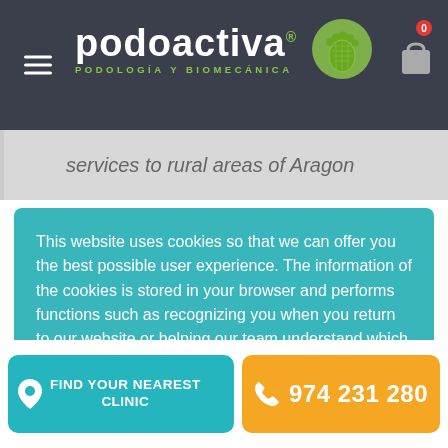[Figure (logo): Podoactiva logo with foot icon and tagline 'Podología y Biomecánica' on dark header bar with hamburger menu and shopping cart icon]
services to rural areas of Aragon
This website uses cookies so that we can offer you the best possible user experience. The information of the cookies is stored in your browser and performs functions such as recognizing you when you return to our website or helping our team understand which sections of the website you find most interesting and useful.
See cookies | Accept | Decline
FIND YOUR NEAREST CLINIC
974 231 280